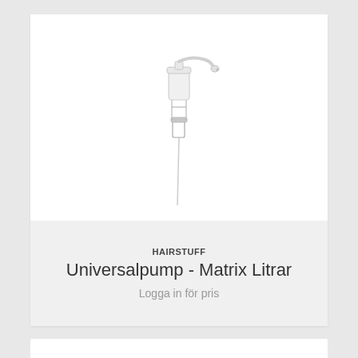[Figure (illustration): Line drawing illustration of a pump dispenser (universalpump) with a white plastic top, metallic neck, and a long thin tube/dip tube extending downward.]
HAIRSTUFF
Universalpump - Matrix Litrar
Logga in för pris